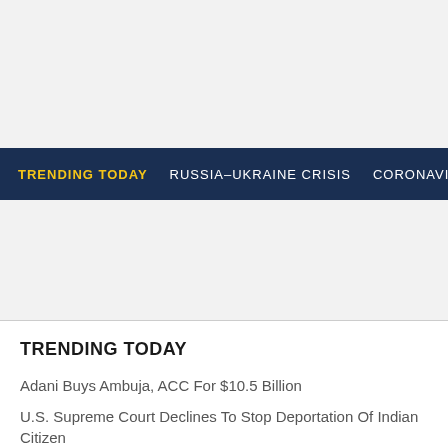TRENDING TODAY  RUSSIA-UKRAINE CRISIS  CORONAVIRUS  IPL
TRENDING TODAY
Adani Buys Ambuja, ACC For $10.5 Billion
U.S. Supreme Court Declines To Stop Deportation Of Indian Citizen
Nirmala Sitharaman Visits Kalena Agrahara Lake In Bengaluru
Deepika Padukone On Being Chosen For Cannes Jury: The World ...
Explained | The Gyanvapi Mosque-Kashi Vishwanath Dispute And...